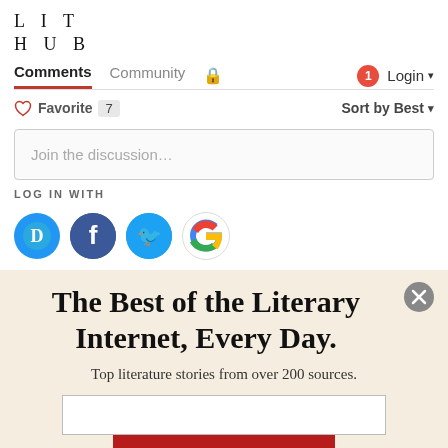LIT HUB
Comments  Community  Login
Favorite 7    Sort by Best
Join the discussion...
LOG IN WITH
[Figure (screenshot): Social login icons: Disqus (D), Facebook (f), Twitter bird, Google (G)]
The Best of the Literary Internet, Every Day.
Top literature stories from over 200 sources.
SUBSCRIBE